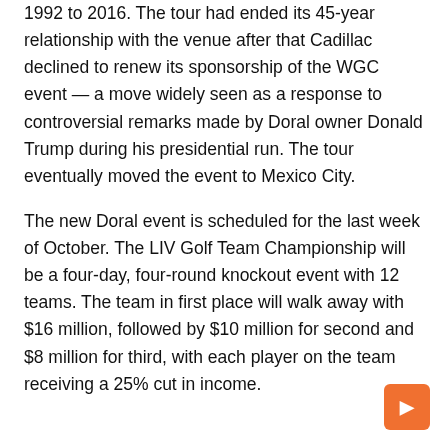1992 to 2016. The tour had ended its 45-year relationship with the venue after that Cadillac declined to renew its sponsorship of the WGC event — a move widely seen as a response to controversial remarks made by Doral owner Donald Trump during his presidential run. The tour eventually moved the event to Mexico City.
The new Doral event is scheduled for the last week of October. The LIV Golf Team Championship will be a four-day, four-round knockout event with 12 teams. The team in first place will walk away with $16 million, followed by $10 million for second and $8 million for third, with each player on the team receiving a 25% cut in income.